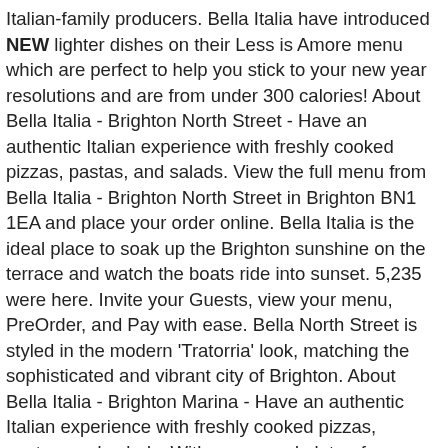Italian-family producers. Bella Italia have introduced NEW lighter dishes on their Less is Amore menu which are perfect to help you stick to your new year resolutions and are from under 300 calories! About Bella Italia - Brighton North Street - Have an authentic Italian experience with freshly cooked pizzas, pastas, and salads. View the full menu from Bella Italia - Brighton North Street in Brighton BN1 1EA and place your order online. Bella Italia is the ideal place to soak up the Brighton sunshine on the terrace and watch the boats ride into sunset. 5,235 were here. Invite your Guests, view your menu, PreOrder, and Pay with ease. Bella North Street is styled in the modern 'Tratorria' look, matching the sophisticated and vibrant city of Brighton. About Bella Italia - Brighton Marina - Have an authentic Italian experience with freshly cooked pizzas, pastas, and salads. With vegan and gluten-free options included, everyone can enjoy the tastes of Italy. Food. Reserve a table at Bella Italia, Brighton on Tripadvisor: See 947 unbiased reviews of Bella Italia, rated 4 of 5 on Tripadvisor and ranked #137 of 1,149 restaurants in Brighton. 02 4927 8050. The 'Low'sagne